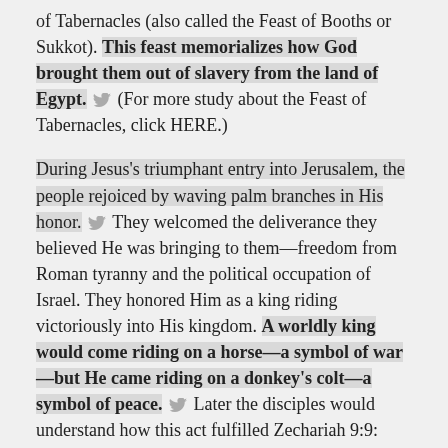of Tabernacles (also called the Feast of Booths or Sukkot). This feast memorializes how God brought them out of slavery from the land of Egypt. [twitter] (For more study about the Feast of Tabernacles, click HERE.)
During Jesus's triumphant entry into Jerusalem, the people rejoiced by waving palm branches in His honor. [twitter] They welcomed the deliverance they believed He was bringing to them—freedom from Roman tyranny and the political occupation of Israel. They honored Him as a king riding victoriously into His kingdom. A worldly king would come riding on a horse—a symbol of war—but He came riding on a donkey's colt—a symbol of peace. [twitter] Later the disciples would understand how this act fulfilled Zechariah 9:9:
"'Rejoice greatly, O daughter of Zion!